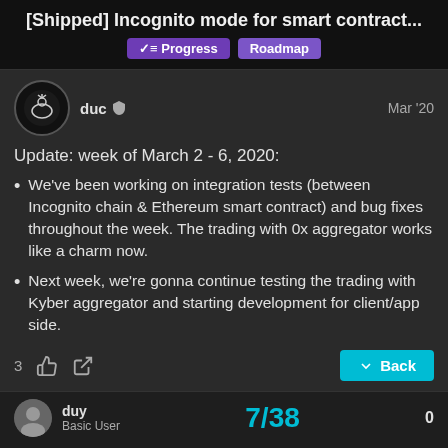[Shipped] Incognito mode for smart contract...
Progress  Roadmap
duc  Mar '20
Update: week of March 2 - 6, 2020:
We've been working on integration tests (between Incognito chain & Ethereum smart contract) and bug fixes throughout the week. The trading with 0x aggregator works like a charm now.
Next week, we're gonna continue testing the trading with Kyber aggregator and starting development for client/app side.
3  Back
duy  Basic User  7/38  0